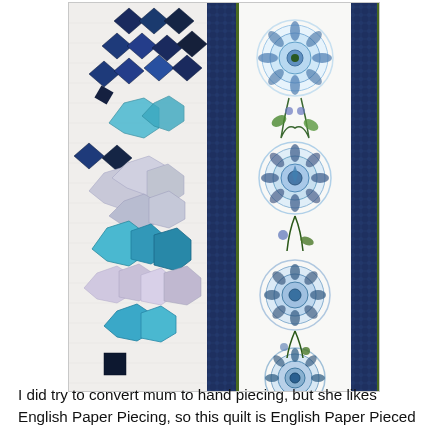[Figure (photo): A close-up photograph of a quilt showing two sections: on the left, a pieced quilt with blue, white, and dark navy diamond and hexagon shapes on a white background; in the center and right, a decorative panel fabric with large blue and green mandala/medallion floral designs on white, bordered by a dark blue patterned band. The quilt has detailed quilting stitches visible throughout.]
I did try to convert mum to hand piecing, but she likes English Paper Piecing, so this quilt is English Paper Pieced